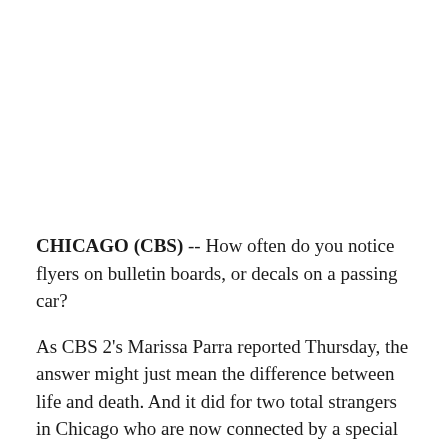CHICAGO (CBS) -- How often do you notice flyers on bulletin boards, or decals on a passing car?
As CBS 2's Marissa Parra reported Thursday, the answer might just mean the difference between life and death. And it did for two total strangers in Chicago who are now connected by a special gift of a donated kidney.